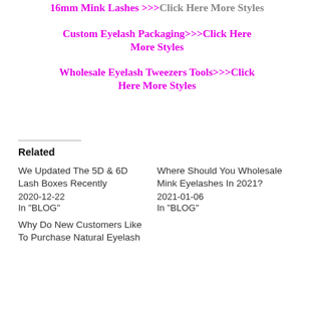16mm Mink Lashes >>>Click Here More Styles
Custom Eyelash Packaging>>>Click Here More Styles
Wholesale Eyelash Tweezers Tools>>>Click Here More Styles
Related
We Updated The 5D & 6D Lash Boxes Recently
2020-12-22
In "BLOG"
Where Should You Wholesale Mink Eyelashes In 2021?
2021-01-06
In "BLOG"
Why Do New Customers Like To Purchase Natural Eyelash